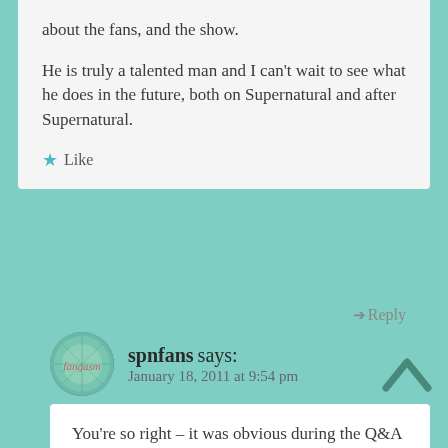about the fans, and the show.
He is truly a talented man and I can't wait to see what he does in the future, both on Supernatural and after Supernatural.
Like
Reply
spnfans says: January 18, 2011 at 9:54 pm
You're so right – it was obvious during the Q&A that we were all on the same page when it comes to affection for this little show that could, and the mutual appreciation